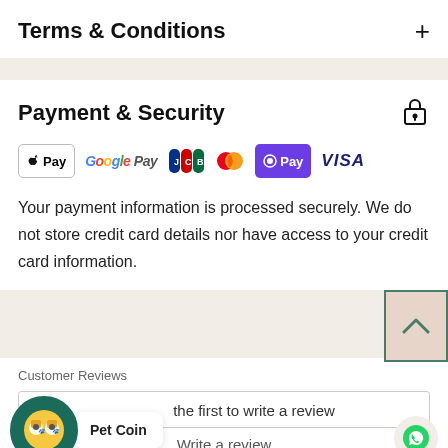Terms & Conditions
Payment & Security
[Figure (logo): Payment method logos: Apple Pay, Google Pay, JCB, Mastercard, OPay, VISA]
Your payment information is processed securely. We do not store credit card details nor have access to your credit card information.
Customer Reviews
Be the first to write a review
Write a review
[Figure (logo): Pet Coin logo — circular green badge with cartoon pet faces, and Pet Coin label bubble]